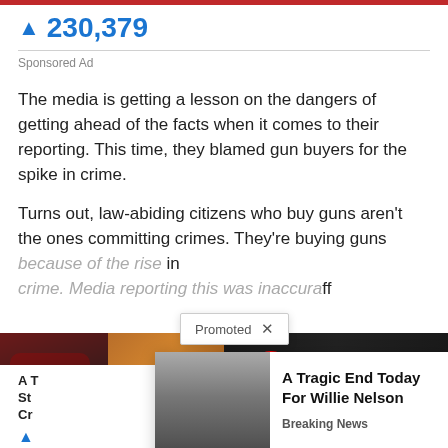230,379
Sponsored Ad
The media is getting a lesson on the dangers of getting ahead of the facts when it comes to their reporting. This time, they blamed gun buyers for the spike in crime.
Turns out, law-abiding citizens who buy guns aren't the ones committing crimes. They're buying guns because of the rise in crime. Media reporting this was inaccurate.
[Figure (photo): Two side-by-side thumbnail images: left shows a woman in red dress and a spoon with spices, right shows men in suits with a red circle highlight and white play button circle overlay]
Promoted X
[Figure (photo): Popup card showing an elderly man (Willie Nelson) with article title 'A Tragic End Today For Willie Nelson' and subtitle 'Breaking News']
A Tragic End Today For Willie Nelson
Breaking News